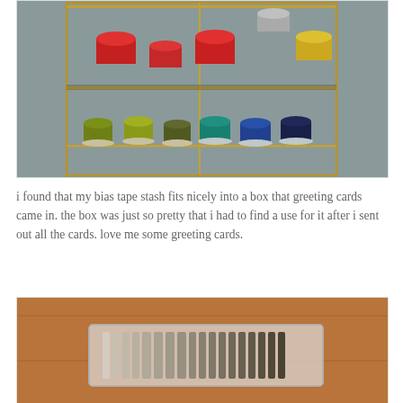[Figure (photo): Photo of colorful thread spools arranged on a metal shelf display against a gray wall. Upper shelf has large red, crimson, and yellow spools. Lower shelf has olive green, dark green, teal, blue, and navy spools.]
i found that my bias tape stash fits nicely into a box that greeting cards came in. the box was just so pretty that i had to find a use for it after i sent out all the cards. love me some greeting cards.
[Figure (photo): Photo of bias tape stash stored in a clear plastic box on a wooden floor surface. The box contains multiple rolls of bias tape in neutral colors arranged neatly.]